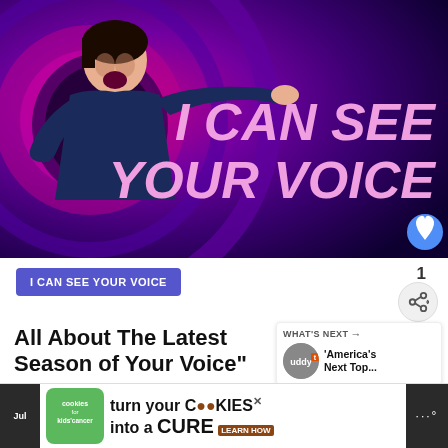[Figure (photo): Promotional image for 'I Can See Your Voice' TV show featuring a man pointing against a purple/magenta background with large pink text reading 'I CAN SEE YOUR VOICE']
I CAN SEE YOUR VOICE
All About The Latest Season of Your Voice"
WHAT'S NEXT → 'America's Next Top...
[Figure (infographic): cookies for kids' cancer advertisement: turn your COOKIES into a CURE LEARN HOW]